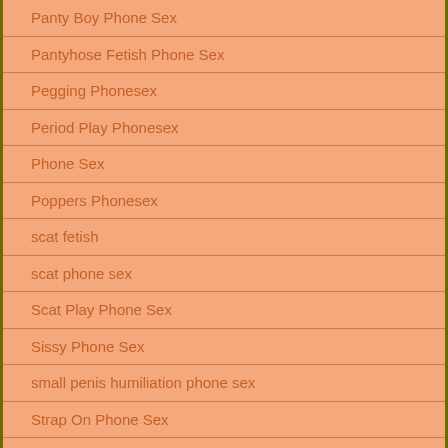Panty Boy Phone Sex
Pantyhose Fetish Phone Sex
Pegging Phonesex
Period Play Phonesex
Phone Sex
Poppers Phonesex
scat fetish
scat phone sex
Scat Play Phone Sex
Sissy Phone Sex
small penis humiliation phone sex
Strap On Phone Sex
strap on sex
Succubus Phonesex
Taboo MILF Phonesex